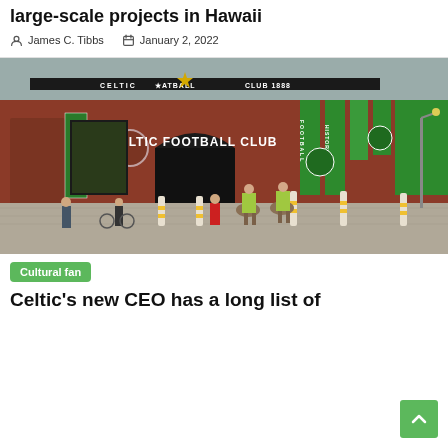Securing 'local touches' is essential for large-scale projects in Hawaii
James C. Tibbs  January 2, 2022
[Figure (photo): Celtic Football Club stadium exterior showing the red brick building with 'Celtic Football Club' signage, green banners reading 'Football History', and two mounted police officers approaching the entrance. People and bollards are visible in the foreground.]
Cultural fan
Celtic's new CEO has a long list of